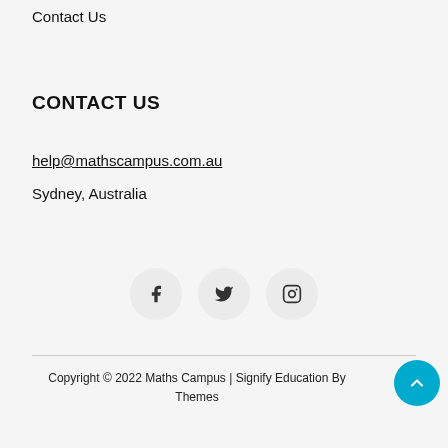Contact Us
CONTACT US
help@mathscampus.com.au
Sydney, Australia
[Figure (other): Social media icons: Facebook, Twitter, Instagram in circular buttons]
Copyright © 2022 Maths Campus | Signify Education By Themes